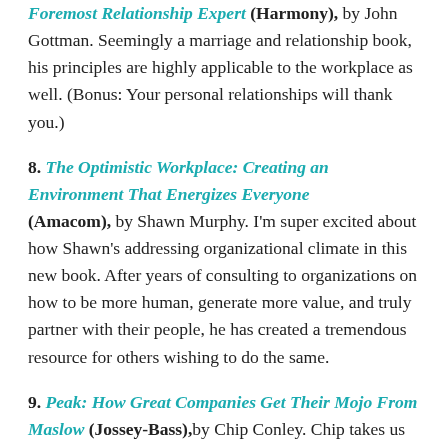Foremost Relationship Expert (Harmony), by John Gottman. Seemingly a marriage and relationship book, his principles are highly applicable to the workplace as well. (Bonus: Your personal relationships will thank you.)
8. The Optimistic Workplace: Creating an Environment That Energizes Everyone (Amacom), by Shawn Murphy. I'm super excited about how Shawn's addressing organizational climate in this new book. After years of consulting to organizations on how to be more human, generate more value, and truly partner with their people, he has created a tremendous resource for others wishing to do the same.
9. Peak: How Great Companies Get Their Mojo From Maslow (Jossey-Bass), by Chip Conley. Chip takes us back to the basics of core needs and